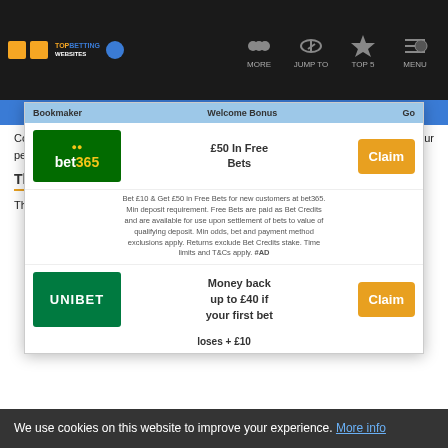TOP BETTING WEBSITES | MORE | JUMP TO | TOP 5 | MENU
Join the Best Betting Sites
Commission, it wouldn't be an exaggeration to say that the safety and security of your personal details as well as deposited funds couldn't be more secure.
The Customer Care
The customer care is first class. The customer support is and are
We use cookies on this website to improve your experience. More info
[Figure (infographic): Promotional overlay showing bet365 offer: £50 In Free Bets (Bet £10 & Get £50 in Free Bets for new customers at bet365. Min deposit requirement. Free Bets are paid as Bet Credits and are available for use upon settlement of bets to value of qualifying deposit. Min odds, bet and payment method exclusions apply. Returns exclude Bet Credits stake. Time limits and T&Cs apply. #AD) with Claim button, and Unibet offer: Money back up to £40 if your first bet loses + £10 with Claim button. Table headers: Bookmaker, Welcome Bonus, Go]